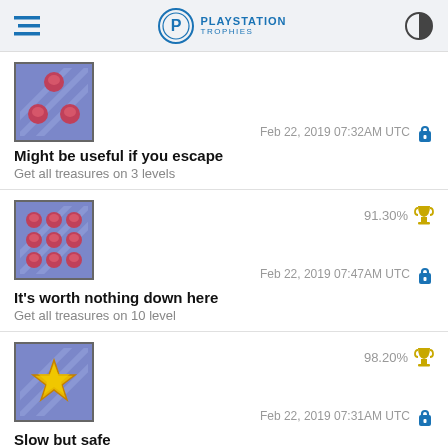PLAYSTATION TROPHIES
Feb 22, 2019 07:32AM UTC
Might be useful if you escape
Get all treasures on 3 levels
91.30%  Feb 22, 2019 07:47AM UTC
It's worth nothing down here
Get all treasures on 10 level
98.20%  Feb 22, 2019 07:31AM UTC
Slow but safe
Get 3 stars on 1 level